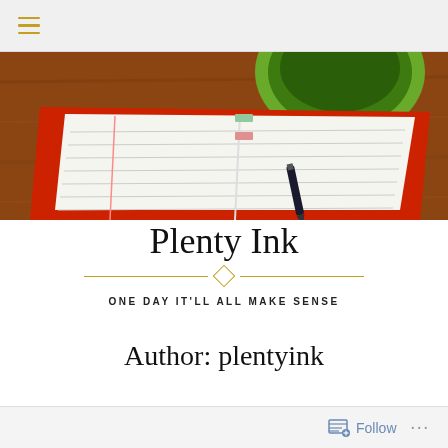≡ (hamburger menu icon)
[Figure (photo): Overhead photo of an open lined notebook with a red cover and a pen resting on it, next to a green cup on a wooden table.]
Plenty Ink
ONE DAY IT'LL ALL MAKE SENSE
Author: plentyink
Follow ...